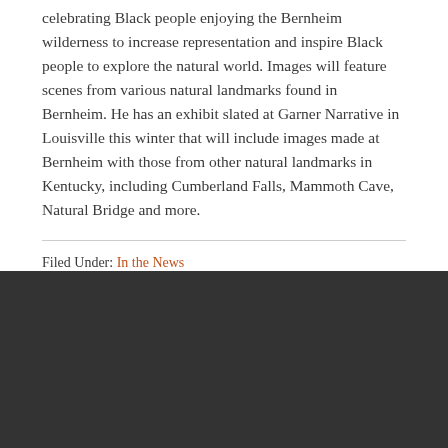celebrating Black people enjoying the Bernheim wilderness to increase representation and inspire Black people to explore the natural world. Images will feature scenes from various natural landmarks found in Bernheim. He has an exhibit slated at Garner Narrative in Louisville this winter that will include images made at Bernheim with those from other natural landmarks in Kentucky, including Cumberland Falls, Mammoth Cave, Natural Bridge and more.
Filed Under: In the News